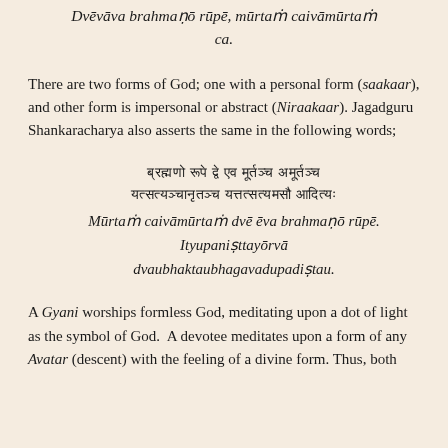Dvēvāva brahmaṇō rūpē, mūrtaṁ caivāmūrtaṁ ca.
There are two forms of God; one with a personal form (saakaar), and other form is impersonal or abstract (Niraakaar). Jagadguru Shankaracharya also asserts the same in the following words;
Mūrtaṁ caivāmūrtaṁ dvē ēva brahmaṇō rūpē. Ityupaniṣttayōrvā dvaubhaktaubhagavadupadiṣtau.
A Gyani worships formless God, meditating upon a dot of light as the symbol of God. A devotee meditates upon a form of any Avatar (descent) with the feeling of a divine form. Thus, both